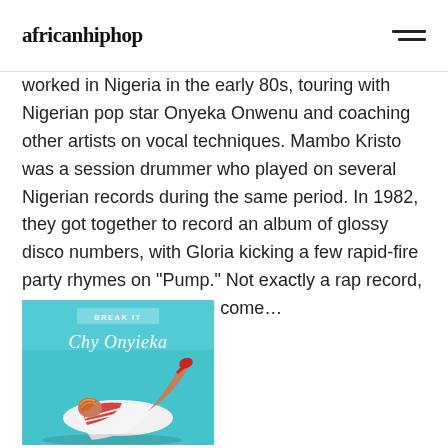africanhiphop
worked in Nigeria in the early 80s, touring with Nigerian pop star Onyeka Onwenu and coaching other artists on vocal techniques. Mambo Kristo was a session drummer who played on several Nigerian records during the same period. In 1982, they got together to record an album of glossy disco numbers, with Gloria kicking a few rapid-fire party rhymes on "Pump." Not exactly a rap record, but a pointer of things to come…
[Figure (photo): Album cover for 'Break It by Chy Onyieka' — turquoise/teal background with a woman in a striped top and white outfit lying down with one leg raised]